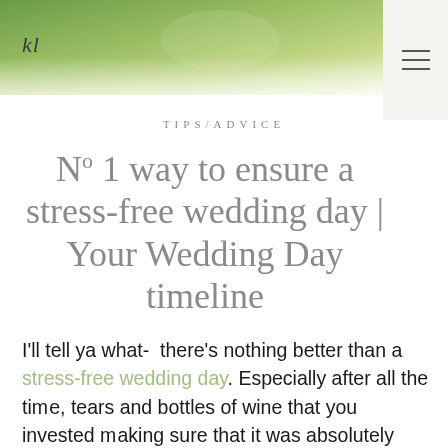[Figure (photo): Wedding photo banner — couple on green grass background, soft natural lighting]
TIPS/ADVICE
Nº 1 way to ensure a stress-free wedding day | Your Wedding Day timeline
I'll tell ya what-  there's nothing better than a stress-free wedding day. Especially after all the time, tears and bottles of wine that you invested making sure that it was absolutely perfect!   In